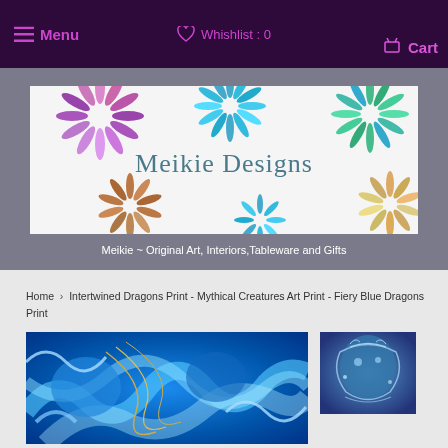Menu   Whishlist : 0   Cart
[Figure (logo): Meikie Designs logo banner with colorful flower-like designs and the text 'Meikie Designs']
Meikie ~ Original Art, Interiors,Tableware and Gifts
Home › Intertwined Dragons Print - Mythical Creatures Art Print - Fiery Blue Dragons Print
[Figure (photo): Close-up of blue intertwined dragons art print with swirling blue patterns and gold line detail]
[Figure (photo): Thumbnail of intertwined dragons print showing two dragons in blue tones]